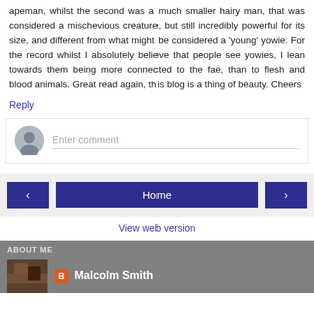apeman, whilst the second was a much smaller hairy man, that was considered a mischevious creature, but still incredibly powerful for its size, and different from what might be considered a 'young' yowie. For the record whilst I absolutely believe that people see yowies, I lean towards them being more connected to the fae, than to flesh and blood animals. Great read again, this blog is a thing of beauty. Cheers
Reply
[Figure (screenshot): Comment entry box with user avatar icon and placeholder text 'Enter comment']
< | Home | >
View web version
ABOUT ME
Malcolm Smith